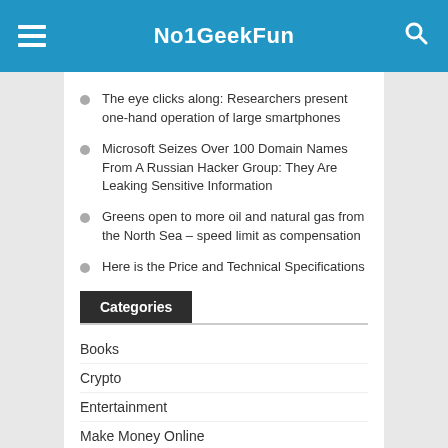No1GeekFun
The eye clicks along: Researchers present one-hand operation of large smartphones
Microsoft Seizes Over 100 Domain Names From A Russian Hacker Group: They Are Leaking Sensitive Information
Greens open to more oil and natural gas from the North Sea – speed limit as compensation
Here is the Price and Technical Specifications
Categories
Books
Crypto
Entertainment
Make Money Online